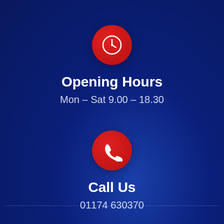[Figure (illustration): Red circle with white clock icon]
Opening Hours
Mon - Sat 9.00 - 18.30
[Figure (illustration): Red circle with white phone icon]
Call Us
01174 630370